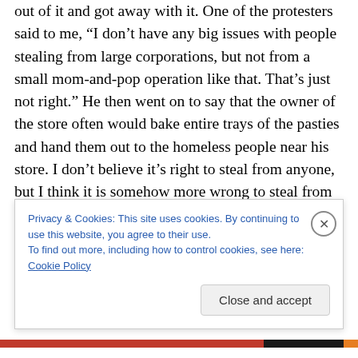out of it and got away with it. One of the protesters said to me, “I don’t have any big issues with people stealing from large corporations, but not from a small mom-and-pop operation like that. That’s just not right.” He then went on to say that the owner of the store often would bake entire trays of the pasties and hand them out to the homeless people near his store. I don’t believe it’s right to steal from anyone, but I think it is somehow more wrong to steal from those who have less. I agree that if you must steal it should be from those who can afford to lose it. I also
Privacy & Cookies: This site uses cookies. By continuing to use this website, you agree to their use.
To find out more, including how to control cookies, see here: Cookie Policy